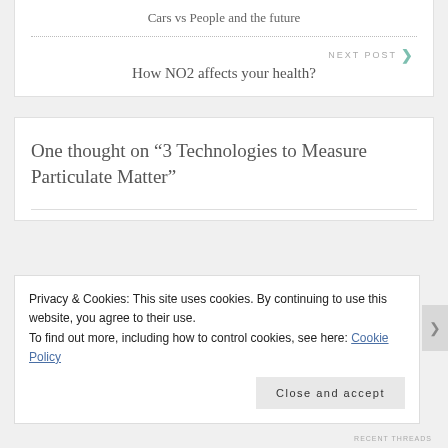Cars vs People and the future
NEXT POST
How NO2 affects your health?
One thought on “3 Technologies to Measure Particulate Matter”
Privacy & Cookies: This site uses cookies. By continuing to use this website, you agree to their use.
To find out more, including how to control cookies, see here: Cookie Policy
Close and accept
RECENT THREADS